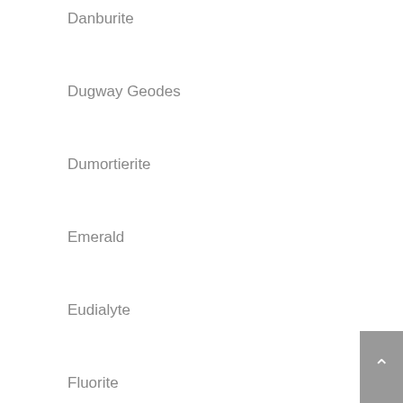Danburite
Dugway Geodes
Dumortierite
Emerald
Eudialyte
Fluorite
Fossil Stone
Fuchsite
Garnet
Golden Feldspar
Goldstone
Grossular
Hematite
Howlite